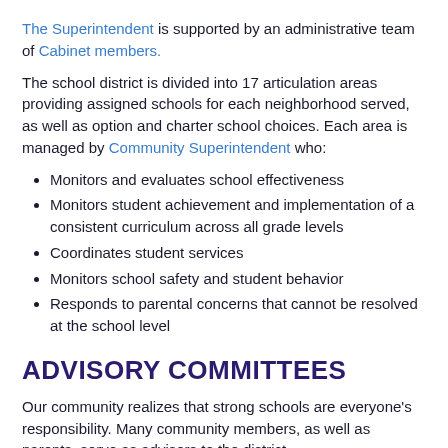The Superintendent is supported by an administrative team of Cabinet members.
The school district is divided into 17 articulation areas providing assigned schools for each neighborhood served, as well as option and charter school choices. Each area is managed by Community Superintendent who:
Monitors and evaluates school effectiveness
Monitors student achievement and implementation of a consistent curriculum across all grade levels
Coordinates student services
Monitors school safety and student behavior
Responds to parental concerns that cannot be resolved at the school level
ADVISORY COMMITTEES
Our community realizes that strong schools are everyone's responsibility. Many community members, as well as parents, serve as advisors to the district